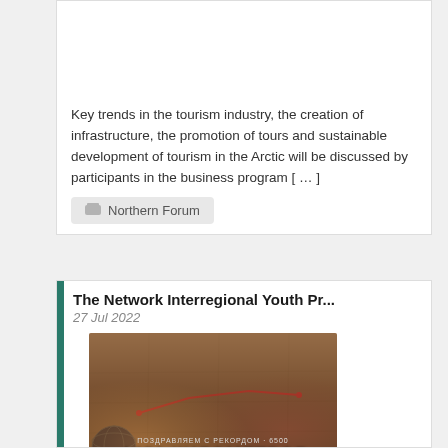[Figure (photo): Group photo of several people standing in front of a blue backdrop]
Key trends in the tourism industry, the creation of infrastructure, the promotion of tours and sustainable development of tourism in the Arctic will be discussed by participants in the business program [ … ]
Northern Forum
The Network Interregional Youth Pr...
27 Jul 2022
[Figure (photo): Image showing a map with a route line and text reading '6450 КИЛОМЕТРОВ' (6450 kilometers)]